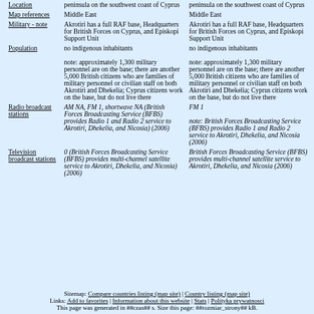|  | Column 1 | Column 2 |
| --- | --- | --- |
| Location | peninsula on the southwest coast of Cyprus | peninsula on the southwest coast of Cyprus |
| Map references | Middle East | Middle East |
| Military - note | Akrotiri has a full RAF base, Headquarters for British Forces on Cyprus, and Episkopi Support Unit | Akrotiri has a full RAF base, Headquarters for British Forces on Cyprus, and Episkopi Support Unit |
| Population | no indigenous inhabitants | no indigenous inhabitants |
|  | note: approximately 1,300 military personnel are on the base; there are another 5,000 British citizens who are families of military personnel or civilian staff on both Akrotiri and Dhekelia; Cyprus citizens work on the base, but do not live there | note: approximately 1,300 military personnel are on the base; there are another 5,000 British citizens who are families of military personnel or civilian staff on both Akrotiri and Dhekelia; Cyprus citizens work on the base, but do not live there |
| Radio broadcast stations | AM NA, FM 1, shortwave NA (British Forces Broadcasting Service (BFBS) provides Radio 1 and Radio 2 service to Akrotiri, Dhekelia, and Nicosia) (2006) | FM 1

note: British Forces Broadcasting Service (BFBS) provides Radio 1 and Radio 2 service to Akrotiri, Dhekelia, and Nicosia (2006) |
| Television broadcast stations | 0 (British Forces Broadcasting Service (BFBS) provides multi-channel satellite service to Akrotiri, Dhekelia, and Nicosia) (2006) | British Forces Broadcasting Service (BFBS) provides multi-channel satellite service to Akrotiri, Dhekelia, and Nicosia (2006) |
Sitemap: Compare countries listing (map site) | Country listing (map site)
Links: Add to favorites | Information about this website | Stats | Polityka prywatnosci
This page was generated in ##czas## s. Size this page: ##rozmiar_strony## kB.